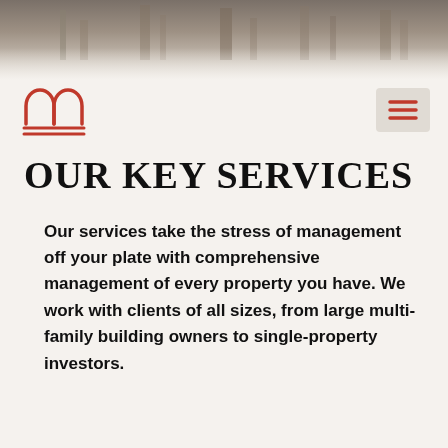[Figure (photo): Aerial or architectural photo background used as page header image, muted brownish-gray tones]
[Figure (logo): Red arch/building outline logo with two horizontal lines beneath, representing a property management company]
[Figure (other): Hamburger menu icon with three horizontal red lines on a light gray square button]
OUR KEY SERVICES
Our services take the stress of management off your plate with comprehensive management of every property you have. We work with clients of all sizes, from large multi-family building owners to single-property investors.